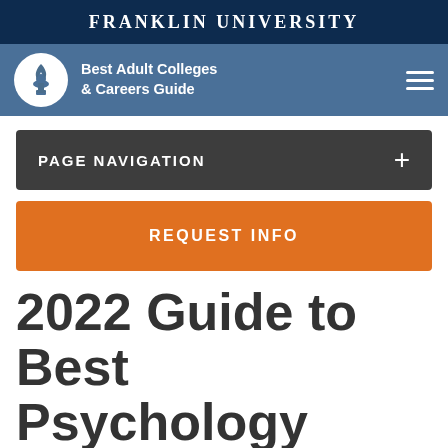FRANKLIN UNIVERSITY
[Figure (logo): Franklin University Best Adult Colleges & Careers Guide logo with torch icon in white circle on blue navigation bar with hamburger menu]
PAGE NAVIGATION +
REQUEST INFO
2022 Guide to Best Psychology Degrees Near Salt Lake City,